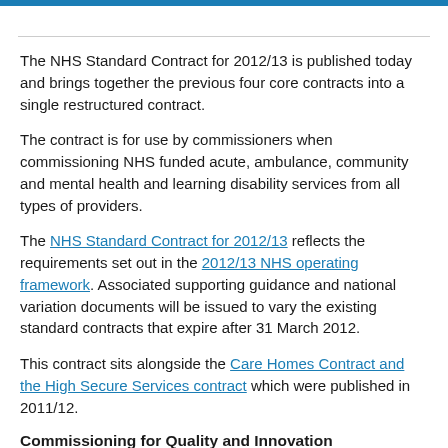The NHS Standard Contract for 2012/13 is published today and brings together the previous four core contracts into a single restructured contract.
The contract is for use by commissioners when commissioning NHS funded acute, ambulance, community and mental health and learning disability services from all types of providers.
The NHS Standard Contract for 2012/13 reflects the requirements set out in the 2012/13 NHS operating framework. Associated supporting guidance and national variation documents will be issued to vary the existing standard contracts that expire after 31 March 2012.
This contract sits alongside the Care Homes Contract and the High Secure Services contract which were published in 2011/12.
Commissioning for Quality and Innovation